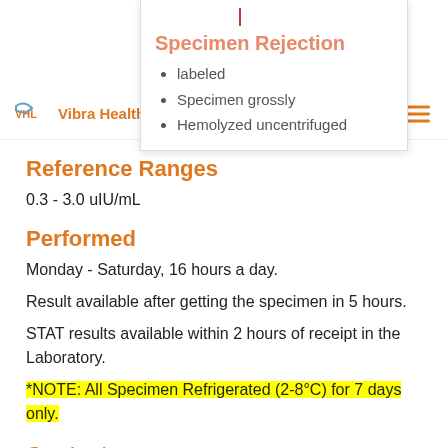[Figure (screenshot): Dropdown card showing Specimen Rejection section with orange title and bullet list items: 'labeled', 'Specimen grossly', 'Hemolyzed uncentrifuged']
Vibra Health Lab
Reference Ranges
0.3 - 3.0 uIU/mL
Performed
Monday - Saturday, 16 hours a day.
Result available after getting the specimen in 5 hours.
STAT results available within 2 hours of receipt in the Laboratory.
*NOTE: All Specimen Refrigerated (2-8°C) for 7 days only.
Contacts
Vibra Health Laboratory